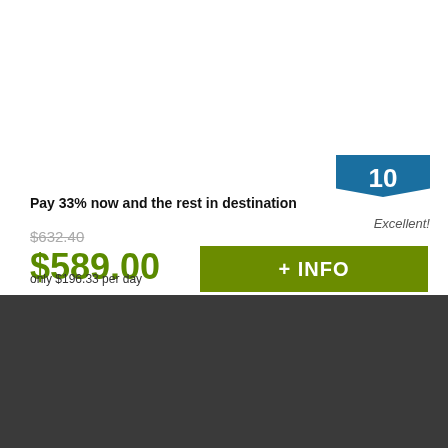Pay 33% now and the rest in destination
$632.40
$589.00
only $196.33 per day
+ INFO
10 Excellent!
This website uses cookies, both its own and those of third parties, to collect statistical information related to your browsing and to show you advertising according to your preferences, generated from your browsing patterns. If you continue surfing, we will consider that you are accepting its use
Further information
Close